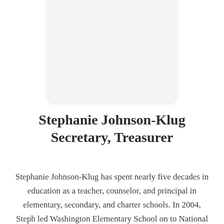[Figure (photo): Portrait photo placeholder of Stephanie Johnson-Klug, shown as a light gray rounded rectangle]
Stephanie Johnson-Klug
Secretary, Treasurer
Stephanie Johnson-Klug has spent nearly five decades in education as a teacher, counselor, and principal in elementary, secondary, and charter schools. In 2004, Steph led Washington Elementary School on to National Blue Ribbon status. With the firm belief that the only way out of poverty is education, Stephanie became a founding board